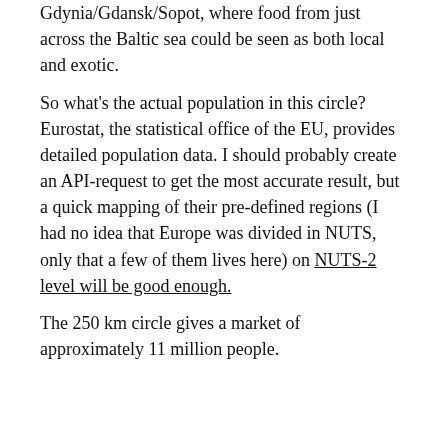Gdynia/Gdansk/Sopot, where food from just across the Baltic sea could be seen as both local and exotic.
So what's the actual population in this circle?  Eurostat, the statistical office of the EU, provides detailed population data. I should probably create an API-request to get the most accurate result, but a quick mapping of their pre-defined regions (I had no idea that Europe was divided in NUTS, only that a few of them lives here) on NUTS-2 level will be good enough.
The 250 km circle gives a market of approximately 11 million people.
| Region | Population |
| --- | --- |
| Hovedstaden | 1,768,125 |
| Östra Mellansverige | 1,621,566 |
| Sjælland | 820,480 |